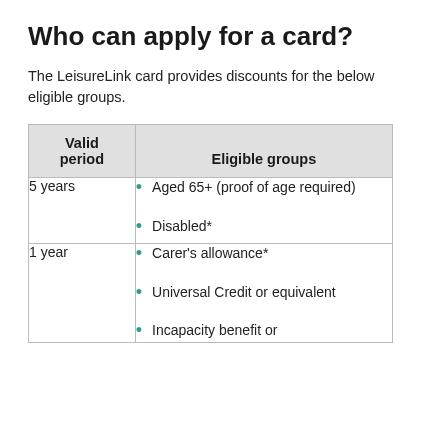Who can apply for a card?
The LeisureLink card provides discounts for the below eligible groups.
| Valid period | Eligible groups |
| --- | --- |
| 5 years | Aged 65+ (proof of age required)
Disabled* |
| 1 year | Carer's allowance*
Universal Credit or equivalent
Incapacity benefit or… |